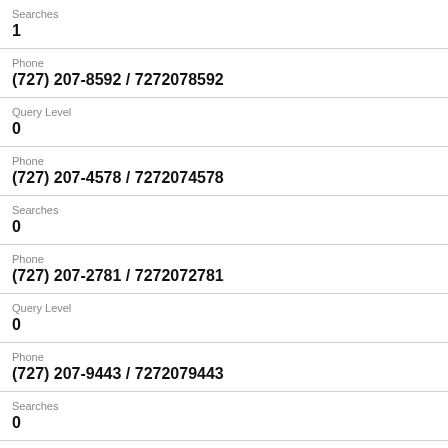Searches
1
Phone
(727) 207-8592 / 7272078592
Query Level
0
Phone
(727) 207-4578 / 7272074578
Searches
0
Phone
(727) 207-2781 / 7272072781
Query Level
0
Phone
(727) 207-9443 / 7272079443
Searches
0